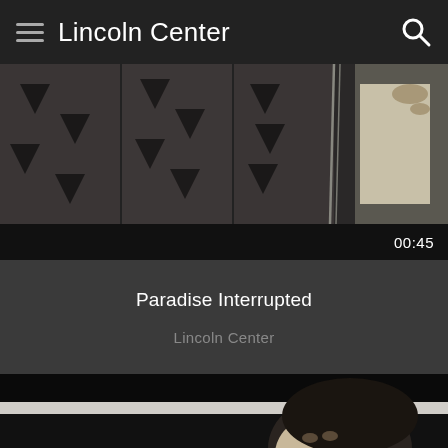Lincoln Center
[Figure (screenshot): Video thumbnail showing fabric curtains with geometric dark patterns and a figure in white on the right side]
00:45
Paradise Interrupted
Lincoln Center
[Figure (screenshot): Video thumbnail showing a woman with dark hair looking up, partially cropped, dark background with a light horizontal band]